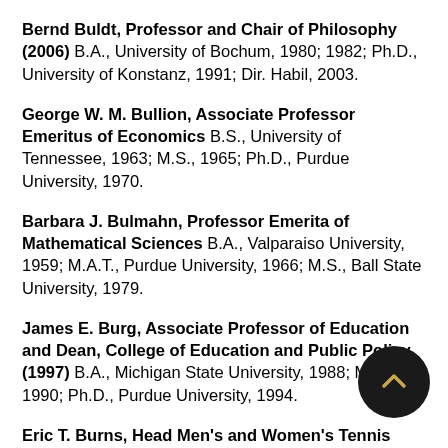Bernd Buldt, Professor and Chair of Philosophy (2006) B.A., University of Bochum, 1980; 1982; Ph.D., University of Konstanz, 1991; Dir. Habil, 2003.
George W. M. Bullion, Associate Professor Emeritus of Economics B.S., University of Tennessee, 1963; M.S., 1965; Ph.D., Purdue University, 1970.
Barbara J. Bulmahn, Professor Emerita of Mathematical Sciences B.A., Valparaiso University, 1959; M.A.T., Purdue University, 1966; M.S., Ball State University, 1979.
James E. Burg, Associate Professor of Education and Dean, College of Education and Public Policy (1997) B.A., Michigan State University, 1988; M.A., 1990; Ph.D., Purdue University, 1994.
Eric T. Burns, Head Men's and Women's Tennis Coach (2001) B.A., Franklin College, 1999; M.A., Ball State